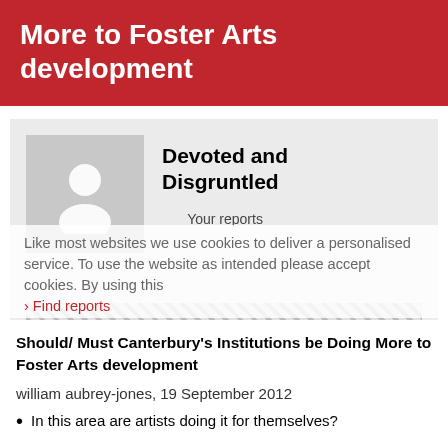More to Foster Arts development
[Figure (illustration): Grey avatar/profile placeholder icon of a person silhouette]
Devoted and Disgruntled
Your reports
Like most websites we use cookies to deliver a personalised service. To use the website as intended please accept cookies. By using this
› Find reports
Should/ Must Canterbury's Institutions be Doing More to Foster Arts development
william aubrey-jones, 19 September 2012
In this area are artists doing it for themselves?